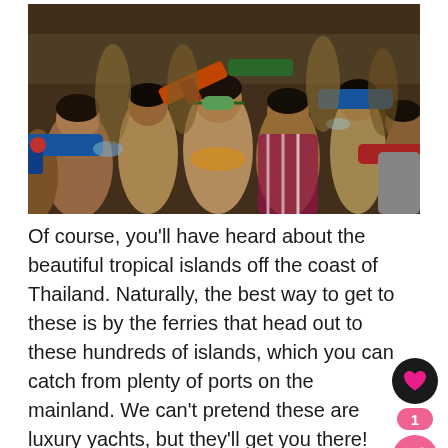[Figure (photo): Crowd of people having a water gun fight, densely packed, holding colorful water guns, many shirtless, some wearing goggles and colorful accessories. Appears to be Songkran water festival in Thailand.]
Of course, you'll have heard about the beautiful tropical islands off the coast of Thailand. Naturally, the best way to get to these is by the ferries that head out to these hundreds of islands, which you can catch from plenty of ports on the mainland. We can't pretend these are luxury yachts, but they'll get you there!